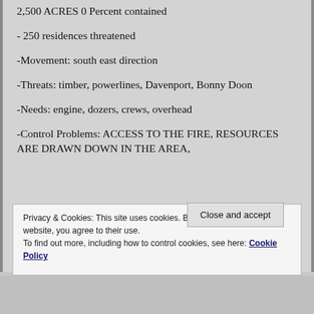2,500 ACRES 0 Percent contained
- 250 residences threatened
-Movement: south east direction
-Threats: timber, powerlines, Davenport, Bonny Doon
-Needs: engine, dozers, crews, overhead
-Control Problems: ACCESS TO THE FIRE, RESOURCES ARE DRAWN DOWN IN THE AREA,
Privacy & Cookies: This site uses cookies. By continuing to use this website, you agree to their use.
To find out more, including how to control cookies, see here: Cookie Policy
Close and accept